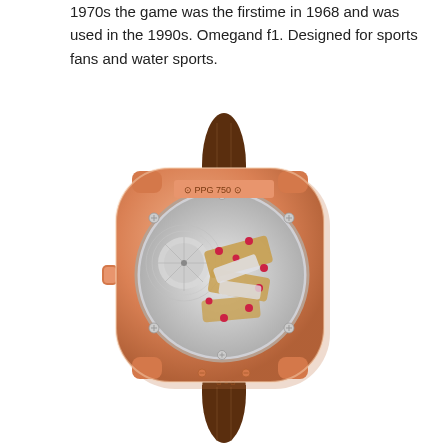1970s the game was the firstime in 1968 and was used in the 1990s. Omegand f1. Designed for sports fans and water sports.
[Figure (photo): Back view of a luxury watch with rose gold case stamped '750', brown leather alligator strap, and a transparent case back revealing an intricate mechanical movement with gold bridges, ruby jewels, and decorative finishing.]